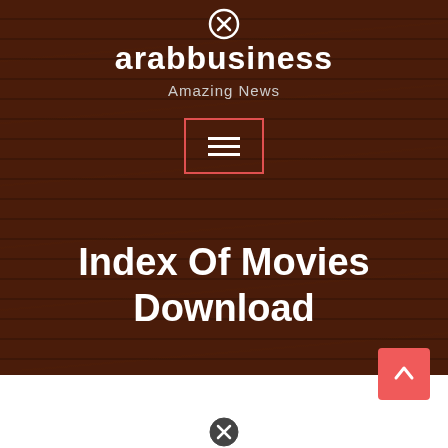[Figure (screenshot): Close button (X circle) icon at top center of wood-textured header]
arabbusiness
Amazing News
[Figure (other): Hamburger menu icon inside a red-bordered rectangle]
Index Of Movies Download
[Figure (other): Scroll-to-top arrow button in coral/salmon color, bottom right]
[Figure (other): Close button (X circle) icon at bottom center]